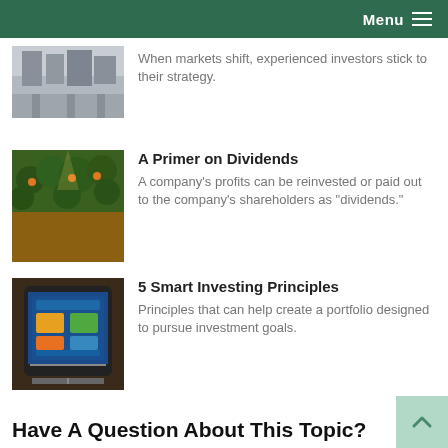Menu
When markets shift, experienced investors stick to their strategy.
A Primer on Dividends
A company's profits can be reinvested or paid out to the company's shareholders as "dividends."
5 Smart Investing Principles
Principles that can help create a portfolio designed to pursue investment goals.
Have A Question About This Topic?